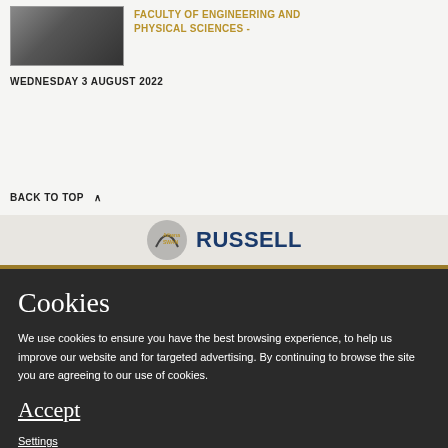[Figure (photo): Photo of medical/lab equipment screen]
FACULTY OF ENGINEERING AND PHYSICAL SCIENCES -
WEDNESDAY 3 AUGUST 2022
BACK TO TOP ^
[Figure (logo): Athena SWAN logo and RUSSELL group logo]
Cookies
We use cookies to ensure you have the best browsing experience, to help us improve our website and for targeted advertising. By continuing to browse the site you are agreeing to our use of cookies.
Accept
Settings
Find out more